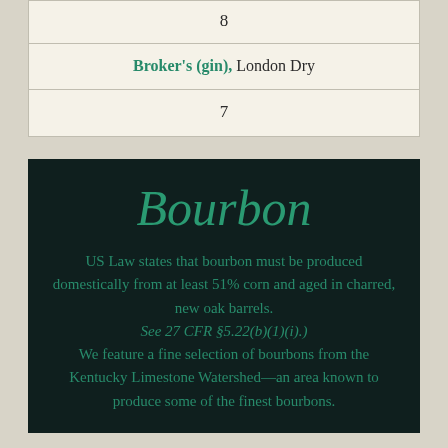| 8 |
| Broker's (gin), London Dry |
| 7 |
Bourbon
US Law states that bourbon must be produced domestically from at least 51% corn and aged in charred, new oak barrels. See 27 CFR §5.22(b)(1)(i).) We feature a fine selection of bourbons from the Kentucky Limestone Watershed—an area known to produce some of the finest bourbons.